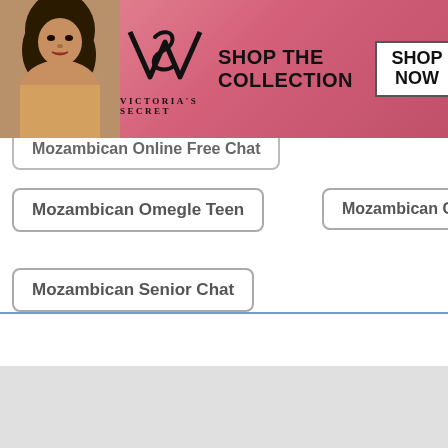[Figure (screenshot): Victoria's Secret advertisement banner with model, VS logo, 'SHOP THE COLLECTION' text, and 'SHOP NOW' button]
Mozambican Online Free Chat
Mozambican Omegle Teen
Mozambican Call
Mozambican Senior Chat
Mozambican Free Text
Mozambican Free Text Online
Mozambican Phone Chat
Mozambican Omegle Kids
Mozambican Messages App